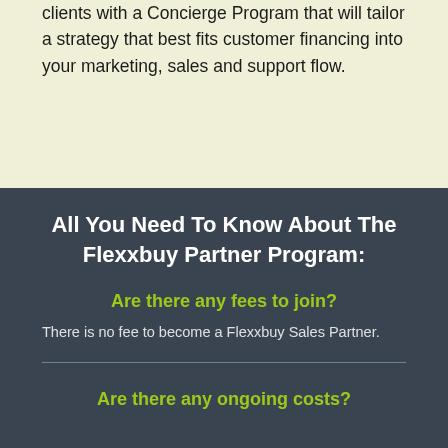clients with a Concierge Program that will tailor a strategy that best fits customer financing into your marketing, sales and support flow.
All You Need To Know About The Flexxbuy Partner Program:
Are there any fees to join?
There is no fee to become a Flexxbuy Sales Partner.
Are there any ongoing costs?